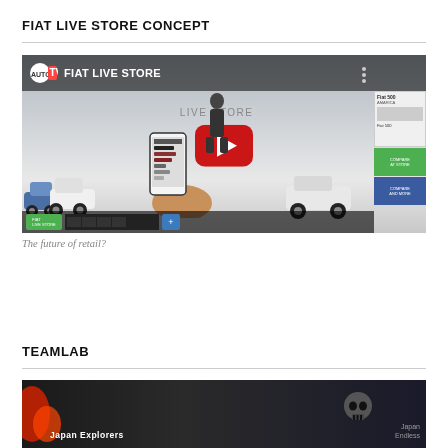FIAT LIVE STORE CONCEPT
[Figure (screenshot): YouTube video thumbnail showing Fiat Live Store concept — a car showroom with Fiat 500 vehicles, a person holding a smartphone with a configurator app, and the YouTube play button overlay. Title reads 'FIAT LIVE STORE'.]
The future of retail?
TEAMLAB
[Figure (screenshot): Dark video thumbnail with text 'Japan Explorers' and 'Japan Endless' visible, dark background.]